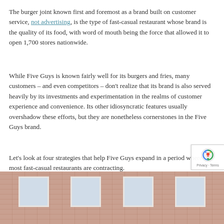The burger joint known first and foremost as a brand built on customer service, not advertising, is the type of fast-casual restaurant whose brand is the quality of its food, with word of mouth being the force that allowed it to open 1,700 stores nationwide.
While Five Guys is known fairly well for its burgers and fries, many customers – and even competitors – don't realize that its brand is also served heavily by its investments and experimentation in the realms of customer experience and convenience. Its other idiosyncratic features usually overshadow these efforts, but they are nonetheless cornerstones in the Five Guys brand.
Let's look at four strategies that help Five Guys expand in a period where most fast-casual restaurants are contracting.
[Figure (photo): Exterior photograph of a brick building with white-framed windows, appearing to be a Five Guys restaurant location]